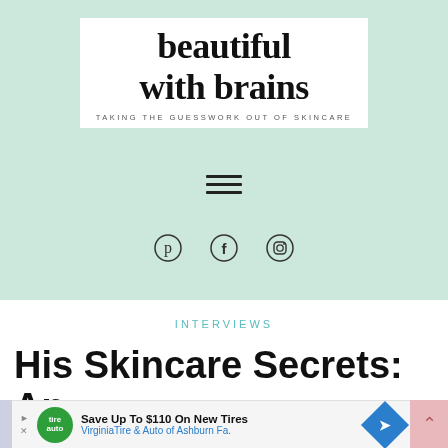[Figure (logo): Beautiful with Brains logo — bold serif text on white background with tagline 'TAKING THE GUESSWORK OUT OF SKINCARE']
[Figure (other): Hamburger menu icon (three horizontal lines)]
[Figure (other): Social media icons: Pinterest, Facebook, Instagram]
INTERVIEWS
His Skincare Secrets: An
[Figure (other): Advertisement bar: Save Up To $110 On New Tires — VirginiaTire & Auto of Ashburn Fa.]